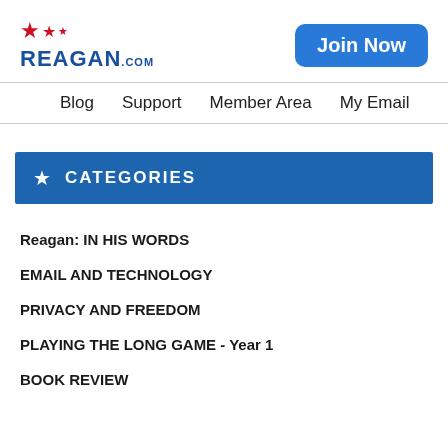[Figure (logo): Reagan.com logo with red stars and blue text, plus a blue Join Now button]
Blog   Support   Member Area   My Email
★ CATEGORIES
Reagan: IN HIS WORDS
EMAIL AND TECHNOLOGY
PRIVACY AND FREEDOM
PLAYING THE LONG GAME - Year 1
BOOK REVIEW